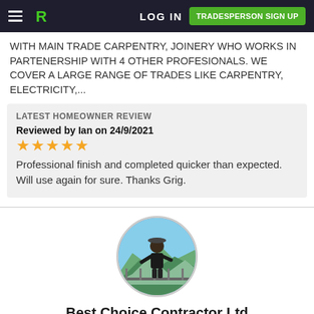LOG IN  TRADESPERSON SIGN UP
WITH MAIN TRADE CARPENTRY, JOINERY WHO WORKS IN PARTENERSHIP WITH 4 OTHER PROFESIONALS. WE COVER A LARGE RANGE OF TRADES LIKE CARPENTRY, ELECTRICITY,...
LATEST HOMEOWNER REVIEW
Reviewed by Ian on 24/9/2021
★★★★★
Professional finish and completed quicker than expected. Will use again for sure. Thanks Grig.
[Figure (photo): Circular profile photo of a person standing outdoors on a hillside or mountain viewpoint]
Best Choice Contractor Ltd
Suspended Ceiling in Monkhams
★★★★★ (11) Read reviews